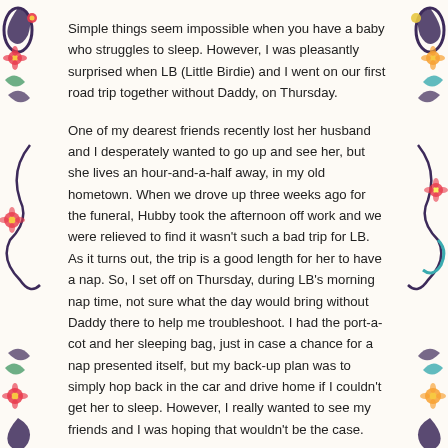Simple things seem impossible when you have a baby who struggles to sleep. However, I was pleasantly surprised when LB (Little Birdie) and I went on our first road trip together without Daddy, on Thursday.
One of my dearest friends recently lost her husband and I desperately wanted to go up and see her, but she lives an hour-and-a-half away, in my old hometown. When we drove up three weeks ago for the funeral, Hubby took the afternoon off work and we were relieved to find it wasn't such a bad trip for LB. As it turns out, the trip is a good length for her to have a nap. So, I set off on Thursday, during LB's morning nap time, not sure what the day would bring without Daddy there to help me troubleshoot. I had the port-a-cot and her sleeping bag, just in case a chance for a nap presented itself, but my back-up plan was to simply hop back in the car and drive home if I couldn't get her to sleep. However, I really wanted to see my friends and I was hoping that wouldn't be the case.